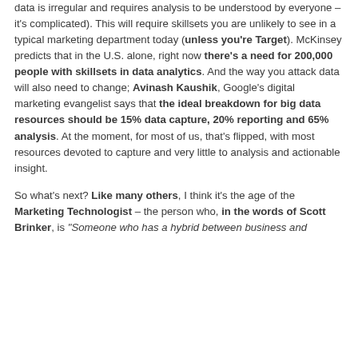data is irregular and requires analysis to be understood by everyone – it's complicated). This will require skillsets you are unlikely to see in a typical marketing department today (unless you're Target). McKinsey predicts that in the U.S. alone, right now there's a need for 200,000 people with skillsets in data analytics. And the way you attack data will also need to change; Avinash Kaushik, Google's digital marketing evangelist says that the ideal breakdown for big data resources should be 15% data capture, 20% reporting and 65% analysis. At the moment, for most of us, that's flipped, with most resources devoted to capture and very little to analysis and actionable insight.
So what's next? Like many others, I think it's the age of the Marketing Technologist – the person who, in the words of Scott Brinker, is "Someone who has a hybrid between business and